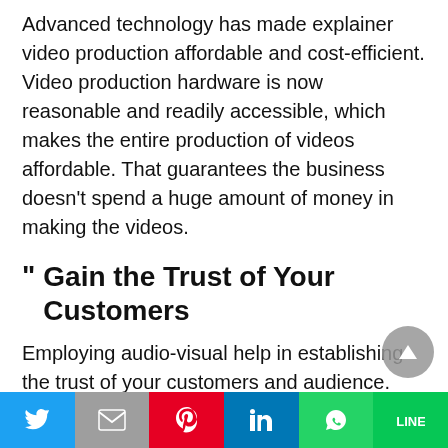Advanced technology has made explainer video production affordable and cost-efficient. Video production hardware is now reasonable and readily accessible, which makes the entire production of videos affordable. That guarantees the business doesn't spend a huge amount of money in making the videos.
Gain the Trust of Your Customers
Employing audio-visual help in establishing the trust of your customers and audience. You see, audio-visual messages prove that the business took their effort and time to ensure customers
Twitter | Gmail | Pinterest | LinkedIn | WhatsApp | LINE